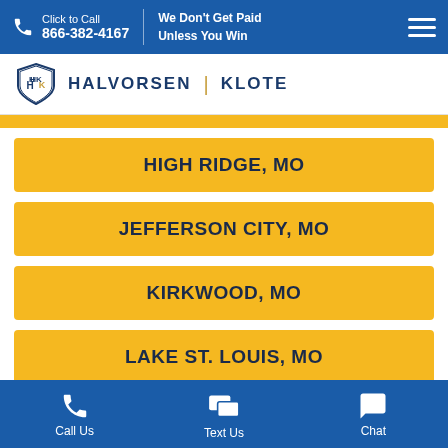Click to Call 866-382-4167 | We Don't Get Paid Unless You Win
[Figure (logo): Halvorsen Klote law firm logo with shield icon]
HIGH RIDGE, MO
JEFFERSON CITY, MO
KIRKWOOD, MO
LAKE ST. LOUIS, MO
LEBANON, MO
Call Us | Text Us | Chat